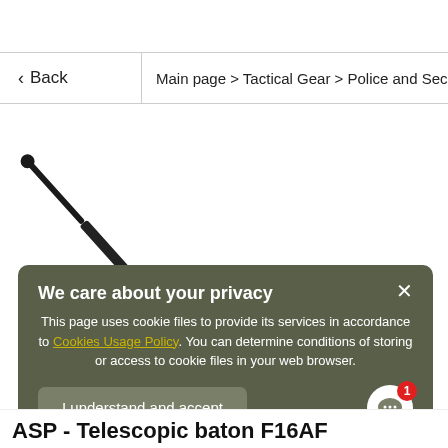< Back | Main page > Tactical Gear > Police and Secu
[Figure (photo): A black telescopic baton (ASP F16AF) shown diagonally extended against a white background]
We care about your privacy
This page uses cookie files to provide its services in accordance to Cookies Usage Policy. You can determine conditions of storing or access to cookie files in your web browser.
I understand and accept
ASP - Telescopic baton F16AF